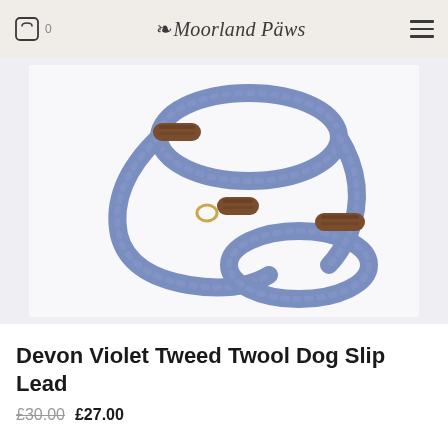Moorland Päws
[Figure (photo): A blue-violet tweed rope dog slip lead coiled on a white background, with brown leather accents and a brass ring fitting.]
Devon Violet Tweed Twool Dog Slip Lead
£30.00 £27.00